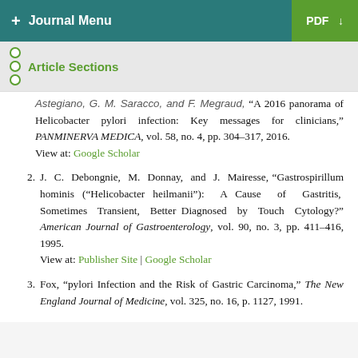+ Journal Menu | PDF ↓
Article Sections
Astegiano, G. M. Saracco, and F. Megraud, "A 2016 panorama of Helicobacter pylori infection: Key messages for clinicians," PANMINERVA MEDICA, vol. 58, no. 4, pp. 304–317, 2016.
View at: Google Scholar
2. J. C. Debongnie, M. Donnay, and J. Mairesse, "Gastrospirillum hominis ("Helicobacter heilmanii"): A Cause of Gastritis, Sometimes Transient, Better Diagnosed by Touch Cytology?" American Journal of Gastroenterology, vol. 90, no. 3, pp. 411–416, 1995.
View at: Publisher Site | Google Scholar
3. Fox, "pylori Infection and the Risk of Gastric Carcinoma," The New England Journal of Medicine, vol. 325, no. 16, p. 1127, 1991.